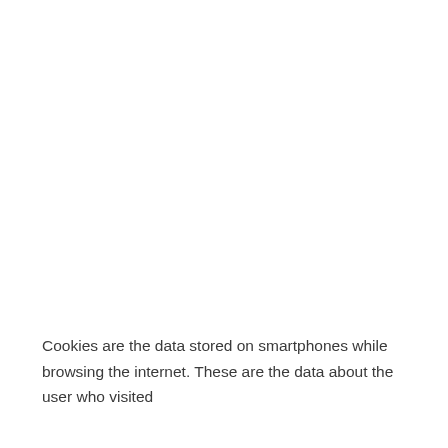Cookies are the data stored on smartphones while browsing the internet. These are the data about the user who visited